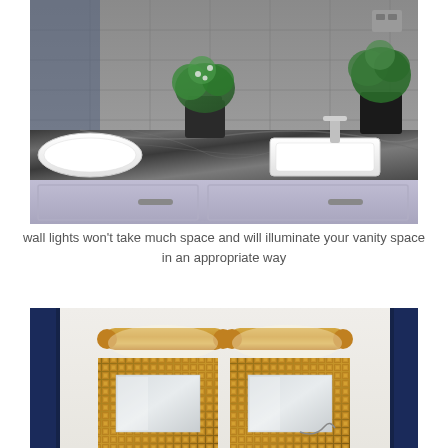[Figure (photo): Bathroom vanity with dark granite/marble countertop with two undermount white sinks, chrome faucets, potted green plants, gray tile wall background, and light purple/gray cabinetry with metal handles.]
wall lights won't take much space and will illuminate your vanity space in an appropriate way
[Figure (photo): Bathroom with two decorative mosaic-framed mirrors hanging on a white wall, flanked by two gold/brass horizontal wall sconce lights, with navy blue vertical trim strips on sides.]